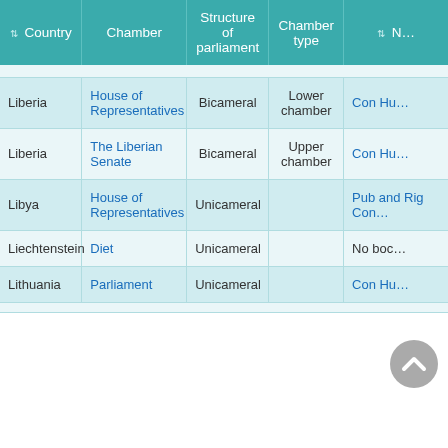| Country | Chamber | Structure of parliament | Chamber type | N… |
| --- | --- | --- | --- | --- |
| Liberia | House of Representatives | Bicameral | Lower chamber | Con Hu… |
| Liberia | The Liberian Senate | Bicameral | Upper chamber | Con Hu… |
| Libya | House of Representatives | Unicameral |  | Pub and Rig Con… |
| Liechtenstein | Diet | Unicameral |  | No boc… |
| Lithuania | Parliament | Unicameral |  | Con Hu… |